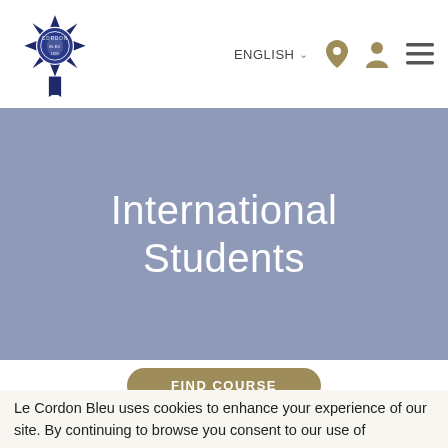[Figure (logo): Le Cordon Bleu logo — navy blue cross/star badge with ribbon]
ENGLISH ∨
International Students
FIND COURSE
Le Cordon Bleu uses cookies to enhance your experience of our site. By continuing to browse you consent to our use of